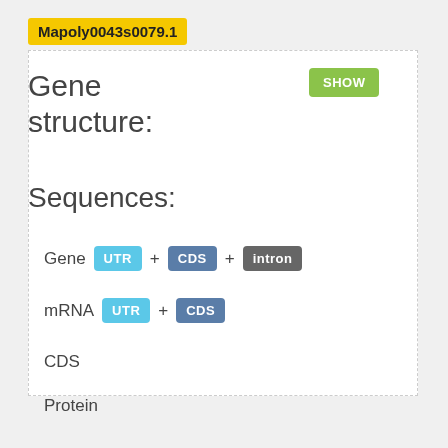Mapoly0043s0079.1
Gene structure:
SHOW
Sequences:
Gene UTR + CDS + intron
mRNA UTR + CDS
CDS
Protein